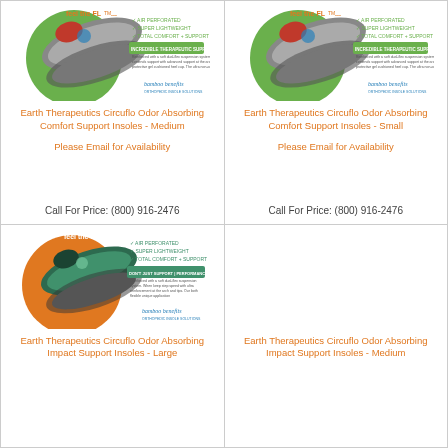[Figure (photo): Earth Therapeutics Circuflo insole product image - Medium, green circle background, bamboo benefits branding]
Earth Therapeutics Circuflo Odor Absorbing Comfort Support Insoles - Medium
Please Email for Availability
Call For Price: (800) 916-2476
[Figure (photo): Earth Therapeutics Circuflo insole product image - Small, green circle background, bamboo benefits branding]
Earth Therapeutics Circuflo Odor Absorbing Comfort Support Insoles - Small
Please Email for Availability
Call For Price: (800) 916-2476
[Figure (photo): Earth Therapeutics Circuflo insole product image - Large, orange circle background, bamboo benefits branding]
Earth Therapeutics Circuflo Odor Absorbing Impact Support Insoles - Large
[Figure (other): Empty product cell placeholder]
Earth Therapeutics Circuflo Odor Absorbing Impact Support Insoles - Medium